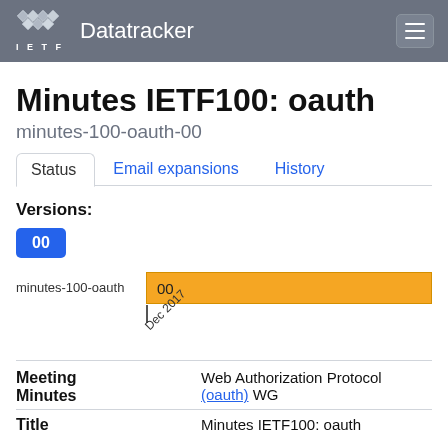IETF Datatracker
Minutes IETF100: oauth
minutes-100-oauth-00
Status | Email expansions | History
Versions:
00
[Figure (bar-chart): minutes-100-oauth version timeline]
|  |  |
| --- | --- |
| Meeting Minutes | Web Authorization Protocol (oauth) WG |
| Title | Minutes IETF100: oauth |